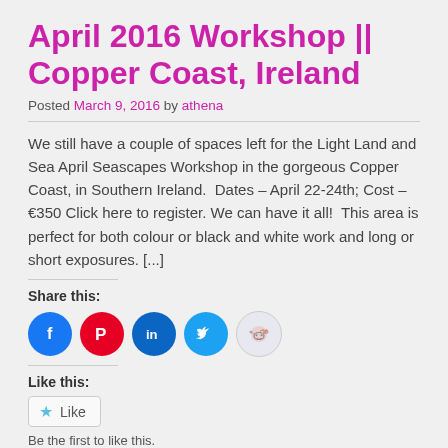April 2016 Workshop || Copper Coast, Ireland
Posted March 9, 2016 by athena
We still have a couple of spaces left for the Light Land and Sea April Seascapes Workshop in the gorgeous Copper Coast, in Southern Ireland.  Dates – April 22-24th; Cost – €350 Click here to register. We can have it all!  This area is perfect for both colour or black and white work and long or short exposures. [...]
Share this:
[Figure (infographic): Social share icons: Facebook (blue circle), Pinterest (red circle), LinkedIn (dark blue circle), Twitter (light blue circle), Reddit (light grey circle)]
Like this:
[Figure (infographic): Like button with star icon and text 'Like']
Be the first to like this.